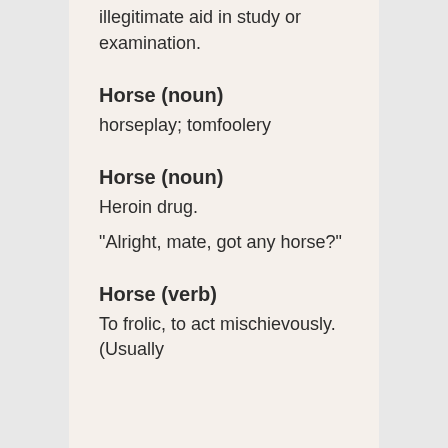illegitimate aid in study or examination.
Horse (noun)
horseplay; tomfoolery
Horse (noun)
Heroin drug.
“Alright, mate, got any horse?”
Horse (verb)
To frolic, to act mischievously. (Usually